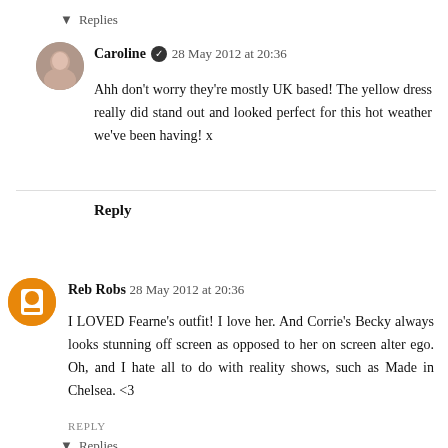▾ Replies
Caroline ✔ 28 May 2012 at 20:36
Ahh don't worry they're mostly UK based! The yellow dress really did stand out and looked perfect for this hot weather we've been having! x
Reply
Reb Robs 28 May 2012 at 20:36
I LOVED Fearne's outfit! I love her. And Corrie's Becky always looks stunning off screen as opposed to her on screen alter ego. Oh, and I hate all to do with reality shows, such as Made in Chelsea. <3
REPLY
▾ Replies
Caroline ✔ 30 May 2012 at 19:58